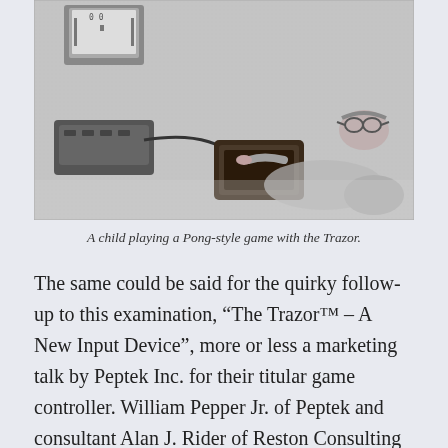[Figure (photo): Black and white photograph of a child lying on carpet playing a Pong-style game using the Trazor touchpad device, with an Atari-style console visible on the left and a TV in the background.]
A child playing a Pong-style game with the Trazor.
The same could be said for the quirky follow-up to this examination, “The Trazor™ – A New Input Device”, more or less a marketing talk by Peptek Inc. for their titular game controller. William Pepper Jr. of Peptek and consultant Alan J. Rider of Reston Consulting Group were pitching a touchpad gaming device similar to that of a laptop mousepad or a